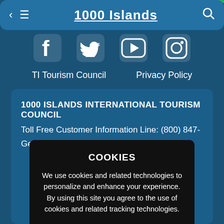1000 Islands
[Figure (screenshot): Social media icons row: Facebook, Twitter, YouTube, Instagram]
TI Tourism Council    Privacy Policy
1000 ISLANDS INTERNATIONAL TOURISM COUNCIL
Toll Free Customer Information Line: (800) 847-
Gen
COOKIES
We use cookies and related technologies to personalize and enhance your experience. By using this site you agree to the use of cookies and related tracking technologies.
DISMISS   PRIVACY POLICY
CANADA